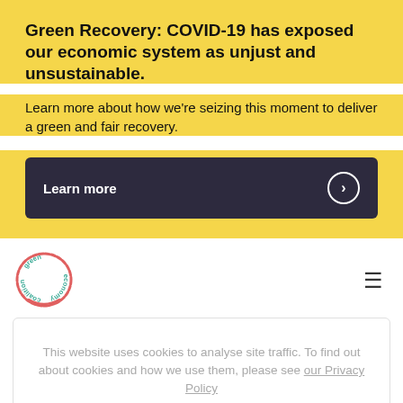Green Recovery: COVID-19 has exposed our economic system as unjust and unsustainable.
Learn more about how we're seizing this moment to deliver a green and fair recovery.
Learn more
[Figure (logo): Green Economy Coalition circular logo with red/pink handwritten circular border and teal text]
This website uses cookies to analyse site traffic. To find out about cookies and how we use them, please see our Privacy Policy
The Big Picture
I agree
Green economy: an analysis